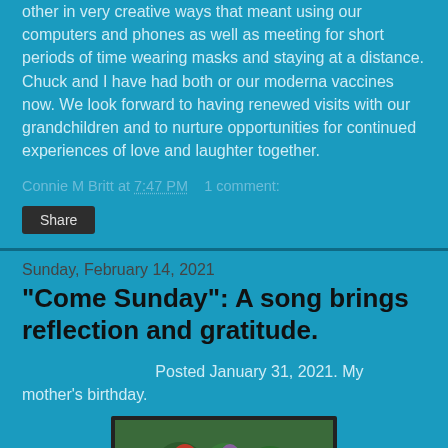other in very creative ways that meant using our computers and phones as well as meeting for short periods of time wearing masks and staying at a distance. Chuck and I have had both or our moderna vaccines now. We look forward to having renewed visits with our grandchildren and to nurture opportunities for continued experiences of love and laughter together.
Connie M Britt at 7:47 PM    1 comment:
Share
Sunday, February 14, 2021
"Come Sunday": A song brings reflection and gratitude.
Posted January 31, 2021. My mother's birthday.
[Figure (photo): A framed photo of colorful flowers including red and purple blooms surrounded by greenery]